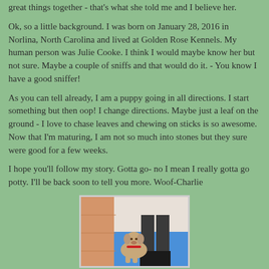great things together - that's what she told me and I believe her.
Ok, so a little background. I was born on January 28, 2016 in Norlina, North Carolina and lived at Golden Rose Kennels. My human person was Julie Cooke. I think I would maybe know her but not sure. Maybe a couple of sniffs and that would do it. - You know I have a good sniffer!
As you can tell already, I am a puppy going in all directions. I start something but then oop! I change directions. Maybe just a leaf on the ground - I love to chase leaves and chewing on sticks is so awesome. Now that I'm maturing, I am not so much into stones but they sure were good for a few weeks.
I hope you'll follow my story. Gotta go- no I mean I really gotta go potty. I'll be back soon to tell you more. Woof-Charlie
[Figure (photo): A puppy (light tan/golden colored) sniffing or near a person's legs wearing dark pants and boots, standing on a blue surface near a tan/orange wall.]